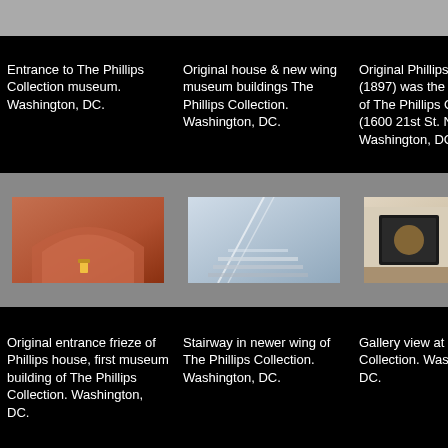[Figure (photo): Top partial photo strip - Entrance to The Phillips Collection museum]
[Figure (photo): Top partial photo strip - Original house & new wing museum buildings]
[Figure (photo): Top partial photo strip - Original Phillips house (1897)]
Entrance to The Phillips Collection museum. Washington, DC.
Original house & new wing museum buildings The Phillips Collection. Washington, DC.
Original Phillips house (1897) was the initial home of The Phillips Collection (1600 21st St. NW). Washington, DC.
[Figure (photo): Original entrance frieze of Phillips house, first museum building of The Phillips Collection, red brick arch architectural detail]
[Figure (photo): Stairway in newer wing of The Phillips Collection, interior modern architecture]
[Figure (photo): Gallery view at The Phillips Collection showing framed paintings on wall]
Original entrance frieze of Phillips house, first museum building of The Phillips Collection. Washington, DC.
Stairway in newer wing of The Phillips Collection. Washington, DC.
Gallery view at The Phillips Collection. Washington, DC.